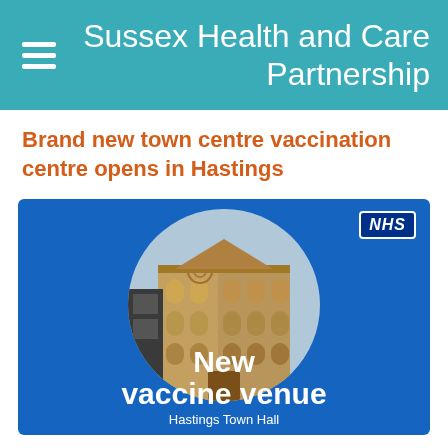Sussex Health and Care Partnership
Brand new town centre vaccination centre opens in Hastings
[Figure (photo): Blue promotional graphic with circular photo of Hastings Town Hall building in the centre, NHS logo in top right corner, overlay text reading 'New vaccine venue' and 'Hastings Town Hall']
Residents in Hastings will be able to get their life-saving Covid